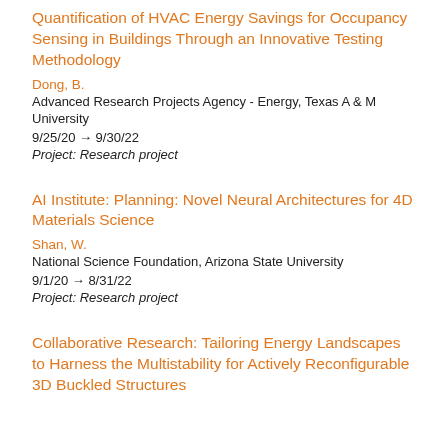Quantification of HVAC Energy Savings for Occupancy Sensing in Buildings Through an Innovative Testing Methodology
Dong, B.
Advanced Research Projects Agency - Energy, Texas A & M University
9/25/20 → 9/30/22
Project: Research project
AI Institute: Planning: Novel Neural Architectures for 4D Materials Science
Shan, W.
National Science Foundation, Arizona State University
9/1/20 → 8/31/22
Project: Research project
Collaborative Research: Tailoring Energy Landscapes to Harness the Multistability for Actively Reconfigurable 3D Buckled Structures